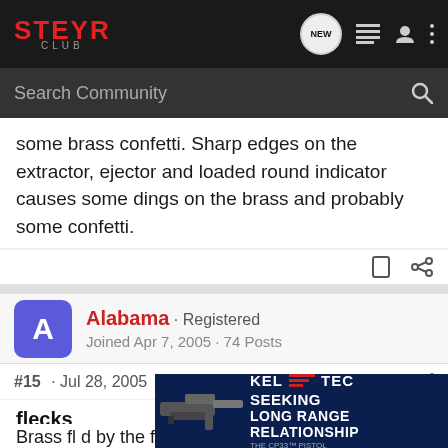STEYR CLUB
some brass confetti. Sharp edges on the extractor, ejector and loaded round indicator causes some dings on the brass and probably some confetti.
Alabama · Registered
Joined Apr 7, 2005 · 74 Posts
#15 · Jul 28, 2005
flecks
Brass fl... d by the feed lips... ng the
[Figure (screenshot): Advertisement banner: SEEKING LONG RANGE RELATIONSHIP - Kel-Tec THE CP33 PISTOL, showing a handgun image on dark blue background]